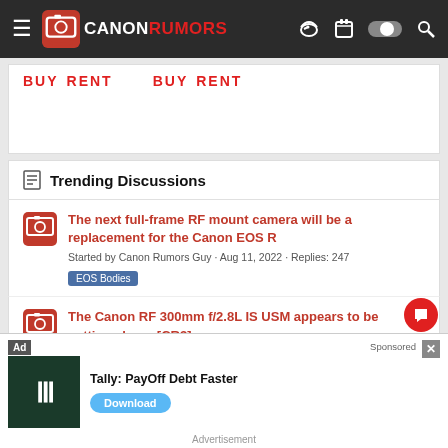Canon Rumors
[Figure (other): Advertisement banner with BUY RENT options]
Trending Discussions
The next full-frame RF mount camera will be a replacement for the Canon EOS R
Started by Canon Rumors Guy · Aug 11, 2022 · Replies: 247
EOS Bodies
The Canon RF 300mm f/2.8L IS USM appears to be getting closer [CR3]
Started by Canon Rumors Guy · Wednesday at 2:22 PM · Replies: 95
[Figure (other): Advertisement overlay: Tally: PayOff Debt Faster with Download button]